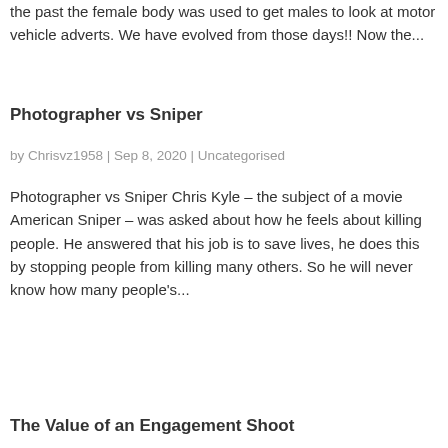the past the female body was used to get males to look at motor vehicle adverts. We have evolved from those days!! Now the...
Photographer vs Sniper
by Chrisvz1958 | Sep 8, 2020 | Uncategorised
Photographer vs Sniper Chris Kyle – the subject of a movie American Sniper – was asked about how he feels about killing people. He answered that his job is to save lives, he does this by stopping people from killing many others. So he will never know how many people's...
The Value of an Engagement Shoot